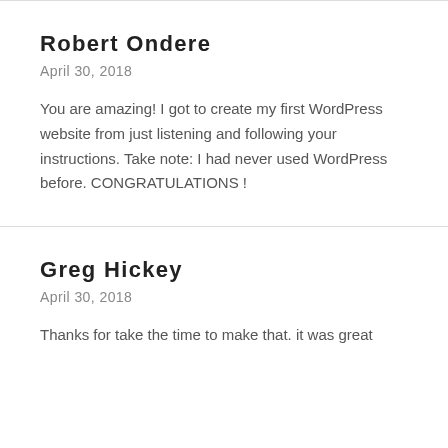Robert Ondere
April 30, 2018
You are amazing! I got to create my first WordPress website from just listening and following your instructions. Take note: I had never used WordPress before. CONGRATULATIONS !
Greg Hickey
April 30, 2018
Thanks for take the time to make that. it was great